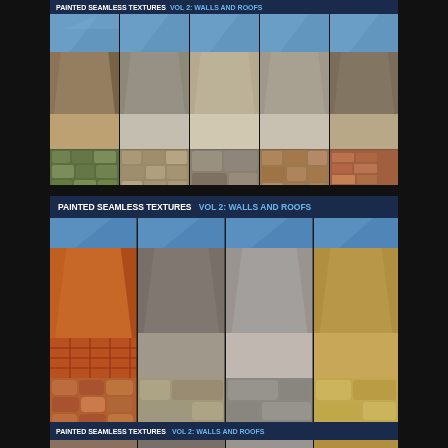[Figure (illustration): Painted Seamless Textures Vol 2: Walls and Roofs — top panel (partially cropped): 5-column grid showing rendered 3D architectural texture previews (walls/stucco, cobblestone pavements) in earth tones. Banner reads 'PAINTED SEAMLESS TEXTURES VOL 2: WALLS AND ROOFS'.]
[Figure (illustration): Painted Seamless Textures Vol 2: Walls and Roofs — middle panel: banner with title 'PAINTED SEAMLESS TEXTURES VOL 2: WALLS AND ROOFS', 4-column grid of rendered 3D wall texture previews (orange/brown plaster, grey concrete, sandy stucco, yellow/gold wall) and bottom row of roof/stone textures.]
[Figure (illustration): Painted Seamless Textures Vol 2: Walls and Roofs — bottom panel (partially visible, cropped): banner with 'PAINTED SEAMLESS TEXTURES VOL 2: WALLS AND ROOFS' and top portion of another texture grid.]